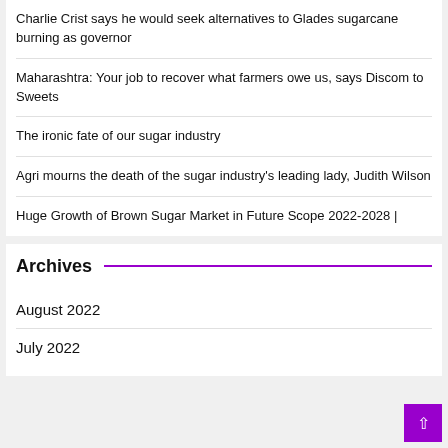Charlie Crist says he would seek alternatives to Glades sugarcane burning as governor
Maharashtra: Your job to recover what farmers owe us, says Discom to Sweets
The ironic fate of our sugar industry
Agri mourns the death of the sugar industry's leading lady, Judith Wilson
Huge Growth of Brown Sugar Market in Future Scope 2022-2028 |
Archives
August 2022
July 2022